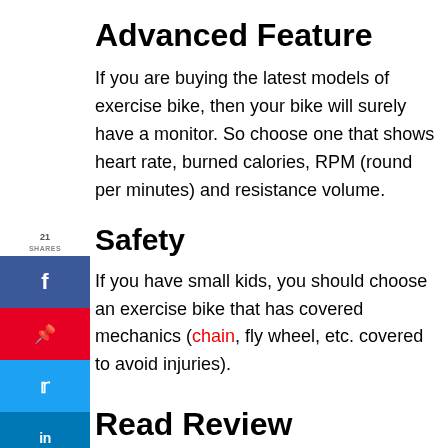Advanced Feature
If you are buying the latest models of exercise bike, then your bike will surely have a monitor. So choose one that shows heart rate, burned calories, RPM (round per minutes) and resistance volume.
Safety
If you have small kids, you should choose an exercise bike that has covered mechanics (chain, fly wheel, etc. covered to avoid injuries).
Read Review